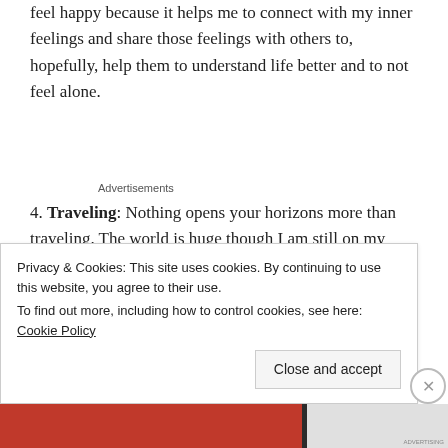feel happy because it helps me to connect with my inner feelings and share those feelings with others to, hopefully, help them to understand life better and to not feel alone.
Advertisements
4. Traveling: Nothing opens your horizons more than traveling. The world is huge though I am still on my journey. Travel enhances your mental well-being.
Wh th t lli f b i
Privacy & Cookies: This site uses cookies. By continuing to use this website, you agree to their use.
To find out more, including how to control cookies, see here: Cookie Policy
Close and accept